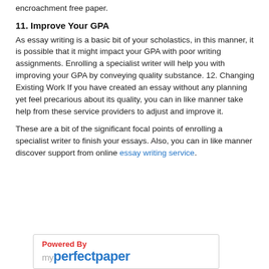encroachment free paper.
11. Improve Your GPA
As essay writing is a basic bit of your scholastics, in this manner, it is possible that it might impact your GPA with poor writing assignments. Enrolling a specialist writer will help you with improving your GPA by conveying quality substance. 12. Changing Existing Work If you have created an essay without any planning yet feel precarious about its quality, you can in like manner take help from these service providers to adjust and improve it.
These are a bit of the significant focal points of enrolling a specialist writer to finish your essays. Also, you can in like manner discover support from online essay writing service.
[Figure (logo): Powered By myperfectpaper logo in a bordered box]